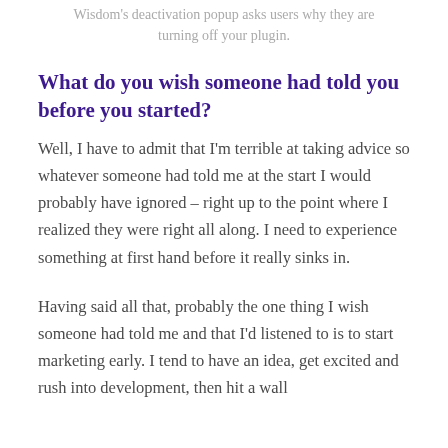Wisdom's deactivation popup asks users why they are turning off your plugin.
What do you wish someone had told you before you started?
Well, I have to admit that I'm terrible at taking advice so whatever someone had told me at the start I would probably have ignored – right up to the point where I realized they were right all along. I need to experience something at first hand before it really sinks in.
Having said all that, probably the one thing I wish someone had told me and that I'd listened to is to start marketing early. I tend to have an idea, get excited and rush into development, then hit a wall